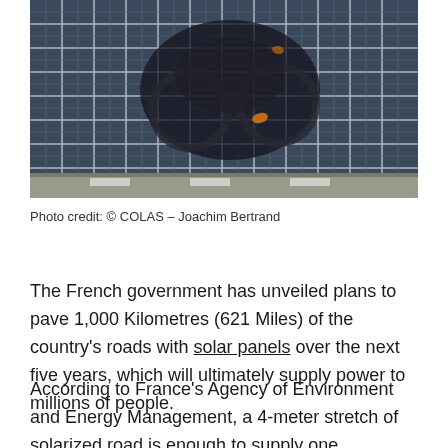[Figure (photo): Aerial/overhead view of a cyclist riding over solar panel road surface, showing blue photovoltaic panels with white grid lines. Motion blur on cyclist. Photo taken from above.]
Photo credit: © COLAS – Joachim Bertrand
The French government has unveiled plans to pave 1,000 Kilometres (621 Miles) of the country's roads with solar panels over the next five years, which will ultimately supply power to millions of people.
According to France's Agency of Environment and Energy Management, a 4-meter stretch of solarized road is enough to supply one household with electricity, and one kilometre of road would be enough to supply lighting to a settlement of 5000 people. The French minister of